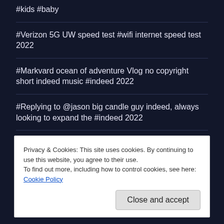#kids #baby
#Verizon 5G UW speed test #wifi internet speed test 2022
#Markvard ocean of adventure Vlog no copyright short indeed music #indeed 2022
#Replying to @jason big candle guy indeed, always looking to expand the #indeed 2022
Privacy & Cookies: This site uses cookies. By continuing to use this website, you agree to their use.
To find out more, including how to control cookies, see here: Cookie Policy
Close and accept
RSS - Comments